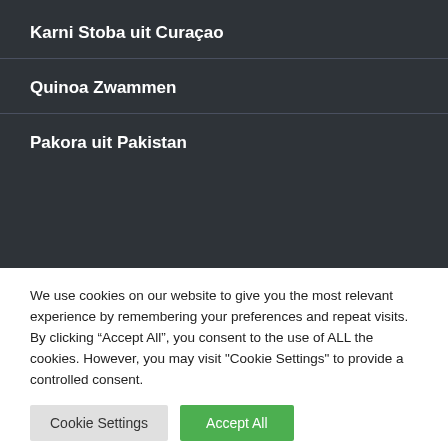Karni Stoba uit Curaçao
Quinoa Zwammen
Pakora uit Pakistan
We use cookies on our website to give you the most relevant experience by remembering your preferences and repeat visits. By clicking “Accept All”, you consent to the use of ALL the cookies. However, you may visit "Cookie Settings" to provide a controlled consent.